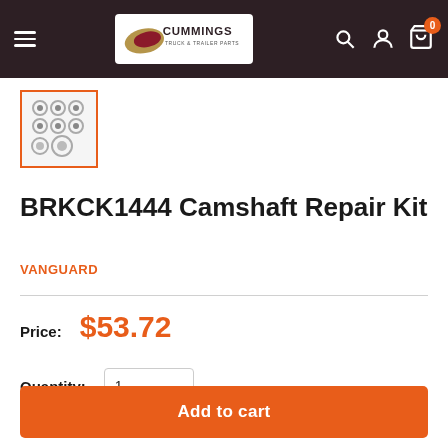Cummings Truck & Trailer Parts – navigation header
[Figure (photo): Thumbnail image of camshaft repair kit showing rings/seals on a white background, bordered in orange]
BRKCK1444 Camshaft Repair Kit
VANGUARD
Price: $53.72
Quantity: 1
Add to cart